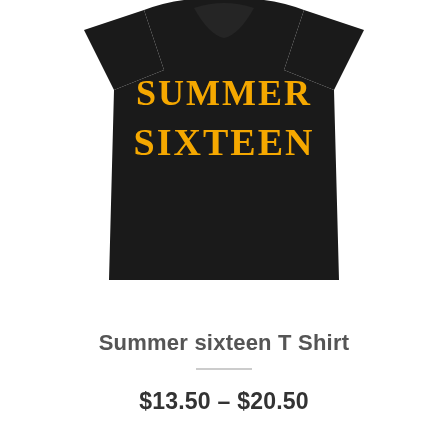[Figure (photo): A black t-shirt hanging, printed with 'SUMMER SIXTEEN' in bold yellow/gold collegiate-style lettering on the front chest area.]
Summer sixteen T Shirt
$13.50 – $20.50